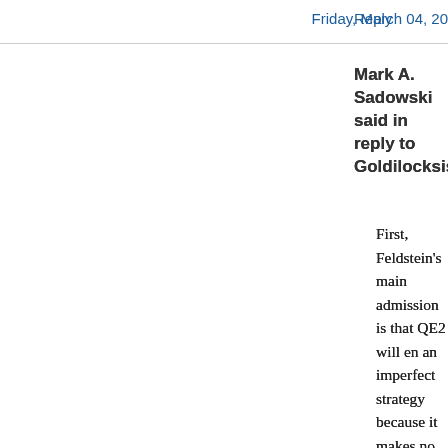Reply    Friday, March 04, 20
Mark A. Sadowski said in reply to Goldilocksisableachblonde...
First, Feldstein's main admission is that QE2 will en an imperfect strategy because it makes no commitr nominal target (such as a NGDP level target). Thus inefficient and prone to frequent resets in policy. Ult what we need is a radical overhaul of how monetar run. But anyone who claims monetary policy is out ammunition in ZIRP just doesn't understand the po printing press.
Second, the rest of your argument sounds like a de class warfare. It's entirely possible to generate incr NGDP without forking over large amounts of money Federal budget to the middle and lower classes. Th is the Federal Reserve's ability to "print money". Th sound reasons for a large scale transfer of income wealth (e.g. higher long run rates of growth, increas development, greater political stability etc.) but macroeconomic stability is certainly not one of them